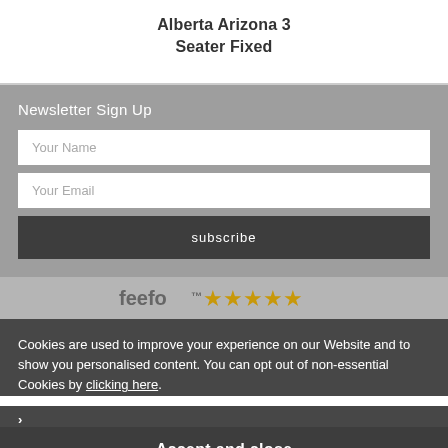Alberta Arizona 3 Seater Fixed
Newsletter Sign Up
Your Name
Your Email
subscribe
[Figure (logo): Feefo logo with 5 gold stars rating]
Cookies are used to improve your experience on our Website and to show you personalised content. You can opt out of non-essential Cookies by clicking here.
Accept and close
Bramble Furniture Company Ltd